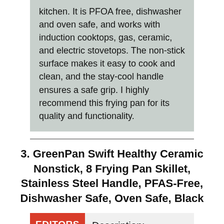kitchen. It is PFOA free, dishwasher and oven safe, and works with induction cooktops, gas, ceramic, and electric stovetops. The non-stick surface makes it easy to cook and clean, and the stay-cool handle ensures a safe grip. I highly recommend this frying pan for its quality and functionality.
3. GreenPan Swift Healthy Ceramic Nonstick, 8 Frying Pan Skillet, Stainless Steel Handle, PFAS-Free, Dishwasher Safe, Oven Safe, Black
EDITORS CHOICE
Description: